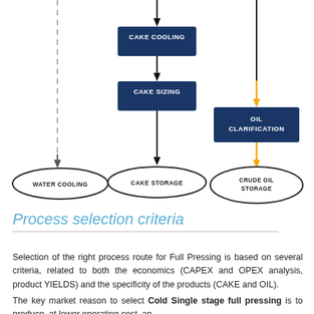[Figure (flowchart): Flowchart showing three parallel process paths: left path (dashed line) leading to WATER COOLING ellipse; center path: CAKE COOLING box -> CAKE SIZING box -> CAKE STORAGE ellipse; right path: OIL CLARIFICATION box -> CRUDE OIL STORAGE ellipse, with yellow arrow for oil path.]
Process selection criteria
Selection of the right process route for Full Pressing is based on several criteria, related to both the economics (CAPEX and OPEX analysis, product YIELDS) and the specificity of the products (CAKE and OIL).
The key market reason to select Cold Single stage full pressing is to produce, at lower operating cost, an